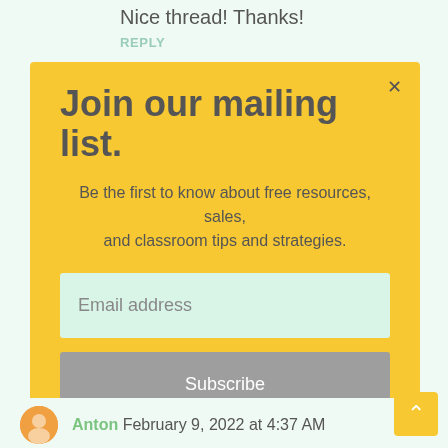Nice thread! Thanks!
REPLY
Join our mailing list.
Be the first to know about free resources, sales, and classroom tips and strategies.
Email address
Subscribe
Anton February 9, 2022 at 4:37 AM